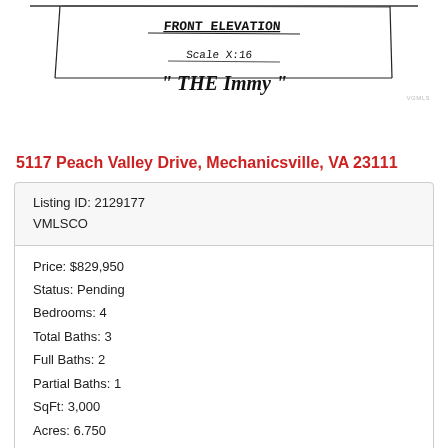[Figure (illustration): Hand-drawn architectural sketch showing front elevation of a house labeled 'THE Immy' with handwritten text 'FRONT ELEVATION' and 'Scale 1:16']
5117 Peach Valley Drive, Mechanicsville, VA 23111
| Listing ID: 2129177 |
| VMLSCO |
| Price: $829,950 |
| Status: Pending |
| Bedrooms: 4 |
| Total Baths: 3 |
| Full Baths: 2 |
| Partial Baths: 1 |
| SqFt: 3,000 |
| Acres: 6.750 |
| Subdivision: None |